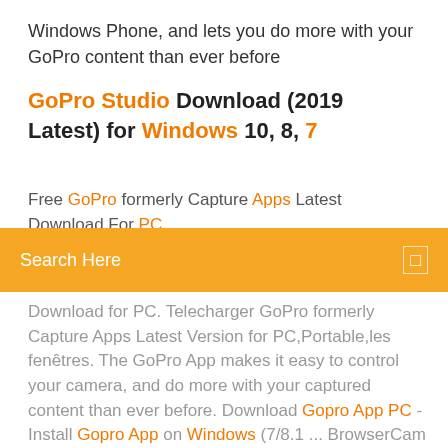Windows Phone, and lets you do more with your GoPro content than ever before
GoPro Studio Download (2019 Latest) for Windows 10, 8, 7
Free GoPro formerly Capture Apps Latest Download For PC ...
Search Here
Download for PC. Telecharger GoPro formerly Capture Apps Latest Version for PC,Portable,les fenêtres. The GoPro App makes it easy to control your camera, and do more with your captured content than ever before. Download Gopro App PC - Install Gopro App on Windows (7/8.1 ... BrowserCam offers you Gopro App for PC (computer) free download. Even if Gopro App app is developed and designed to work with Android mobile along with iOS by Gopro ... GoPro Studio Software for windows 7 - GoPro Support Hub How can i find the down load software for GoPro Studio for my Windows 7 computer